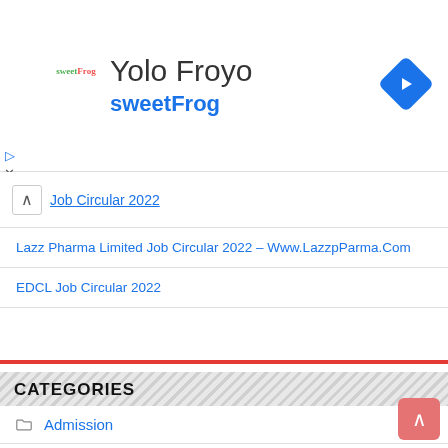[Figure (screenshot): Advertisement banner for Yolo Froyo / sweetFrog with logo and navigation arrow icon]
Job Circular 2022
Lazz Pharma Limited Job Circular 2022 – Www.LazzpParma.Com
EDCL Job Circular 2022
CATEGORIES
Admission
Admit Card Download
Army
Bank Job
BPSC
Company Jobs
Education